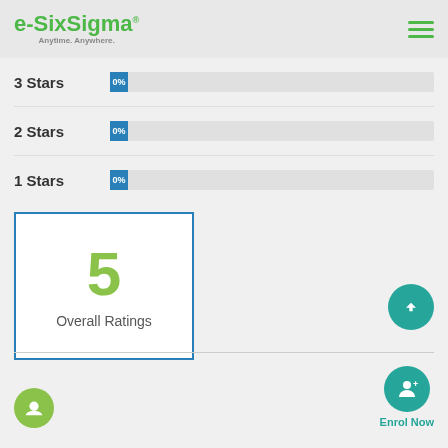e-SixSigma Anytime. Anywhere.
3 Stars  0%
2 Stars  0%
1 Stars  0%
[Figure (infographic): Overall Ratings box showing the number 5 in large green font with text 'Overall Ratings' below, enclosed in a blue border]
Enrol Now